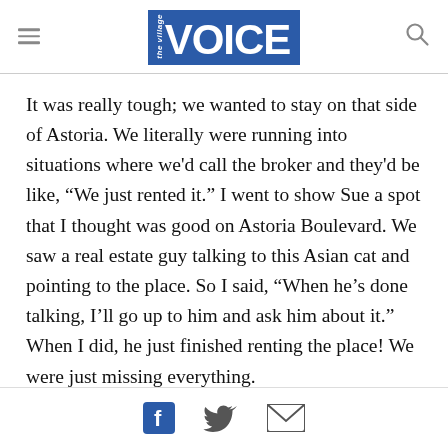the Village VOICE
It was really tough; we wanted to stay on that side of Astoria. We literally were running into situations where we'd call the broker and they'd be like, “We just rented it.” I went to show Sue a spot that I thought was good on Astoria Boulevard. We saw a real estate guy talking to this Asian cat and pointing to the place. So I said, “When he’s done talking, I’ll go up to him and ask him about it.” When I did, he just finished renting the place! We were just missing everything.
Facebook | Twitter | Email